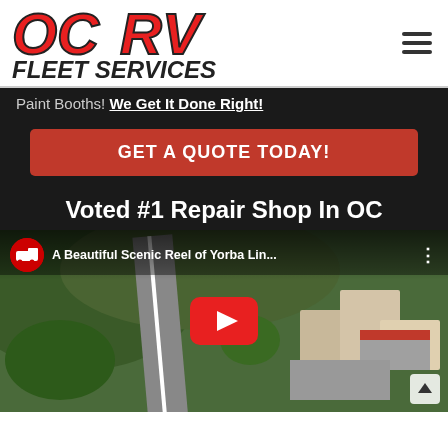[Figure (logo): OCRV Fleet Services logo in red and black italic bold text]
Paint Booths! We Get It Done Right!
GET A QUOTE TODAY!
Voted #1 Repair Shop In OC
[Figure (screenshot): YouTube video thumbnail showing aerial drone view of Yorba Linda with title 'A Beautiful Scenic Reel of Yorba Lin...' and YouTube play button overlay]